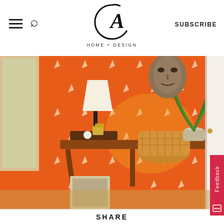CA HOME + DESIGN
[Figure (photo): Interior room with vibrant orange patterned wallpaper featuring white star/medallion motifs. A mid-century wooden desk with a lamp, decorative objects on a tray, and a woven chair. A large plant in a vase sits on the desk. A tribal/African mask hangs on the wall above. Natural light comes from a window on the left.]
Photos by Liz Daly, styled by Allegra Hsiao.
The Nystrom team embraced the clients' eccentric collection of Armenian and African art and objets. They paired the pieces with classic mid-century furniture and textiles that complemented the rarities found during
SHARE